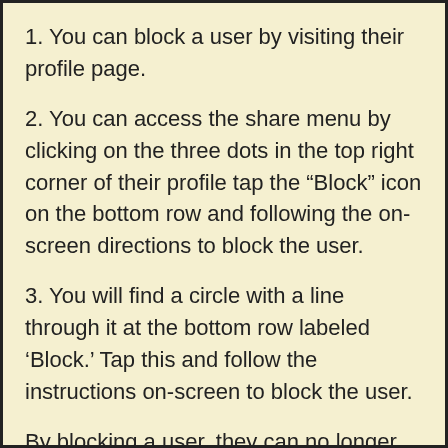1. You can block a user by visiting their profile page.
2. You can access the share menu by clicking on the three dots in the top right corner of their profile tap the “Block” icon on the bottom row and following the on-screen directions to block the user.
3. You will find a circle with a line through it at the bottom row labeled ‘Block.’ Tap this and follow the instructions on-screen to block the user.
By blocking a user, they can no longer